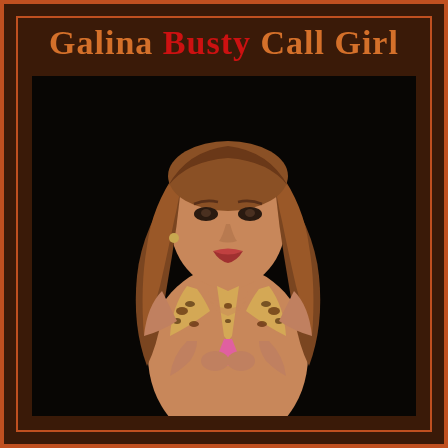Galina Busty Call Girl
[Figure (photo): A woman with long wavy auburn hair wearing a leopard-print bikini top with pink ties, posed against a dark background.]